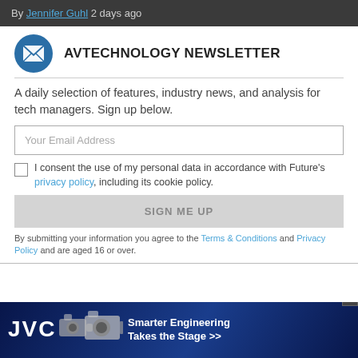By Jennifer Guhl 2 days ago
AVTECHNOLOGY NEWSLETTER
A daily selection of features, industry news, and analysis for tech managers. Sign up below.
Your Email Address
I consent the use of my personal data in accordance with Future's privacy policy, including its cookie policy.
SIGN ME UP
By submitting your information you agree to the Terms & Conditions and Privacy Policy and are aged 16 or over.
[Figure (infographic): JVC advertisement banner: 'Smarter Engineering Takes the Stage >>' with JVC logo and camera images on dark blue background]